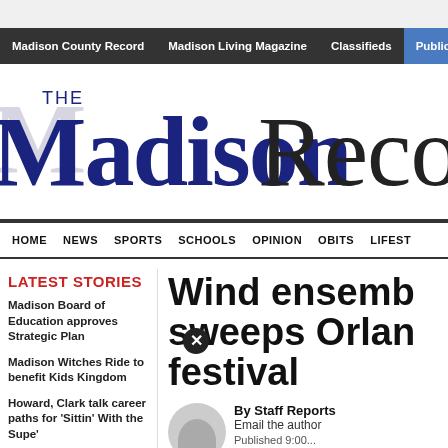Madison County Record | Madison Living Magazine | Classifieds | Public N
[Figure (logo): The Madison Record newspaper masthead logo in dark blue and black serif font]
HOME  NEWS  SPORTS  SCHOOLS  OPINION  OBITS  LIFEST
LATEST STORIES
Madison Board of Education approves Strategic Plan
Madison Witches Ride to benefit Kids Kingdom
Howard, Clark talk career paths for 'Sittin' With the Supe'
Joshua Wilhide Wins Gold
Wind ensemble sweeps Orlando festival
By Staff Reports
Email the author
Published 9:00 ...